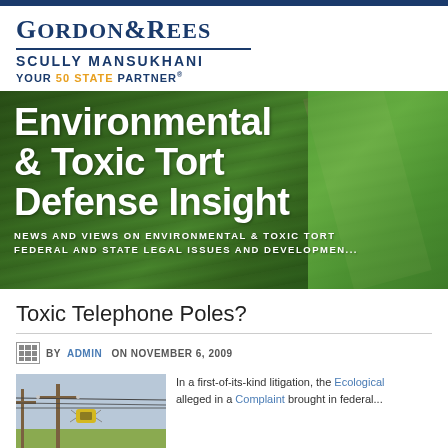[Figure (logo): Gordon & Rees Scully Mansukhani — Your 50 State Partner law firm logo]
[Figure (photo): Aerial view of green agricultural fields with a road, overlaid with the text 'Environmental & Toxic Tort Defense Insight' and subtitle 'News and views on environmental & toxic tort federal and state legal issues and developments']
Toxic Telephone Poles?
BY ADMIN ON NOVEMBER 6, 2009
[Figure (photo): Photo of telephone/telegraph poles with power lines against a sky background]
In a first-of-its-kind litigation, the Ecological alleged in a Complaint brought in federal...